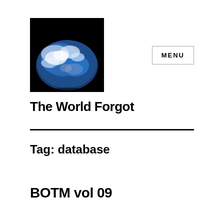[Figure (photo): Half-sphere view of Earth from space against black background, showing blue oceans and white clouds — website logo image]
The World Forgot
MENU
Tag: database
BOTM vol 09